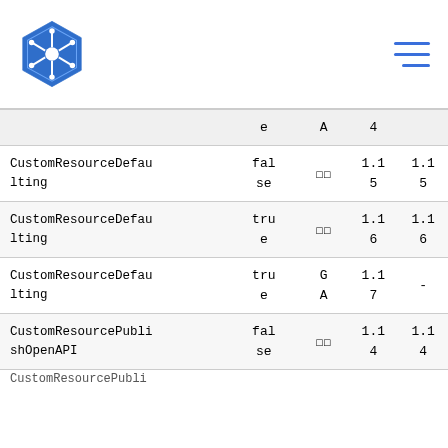Kubernetes logo and navigation menu
|  | e | A | 4 |  |
| --- | --- | --- | --- | --- |
| CustomResourceDefaulting | false | □□ | 1.15 | 1.15 |
| CustomResourceDefaulting | true | □□ | 1.16 | 1.16 |
| CustomResourceDefaulting | true | GA | 1.17 | - |
| CustomResourcePublishOpenAPI | false | □□ | 1.14 | 1.14 |